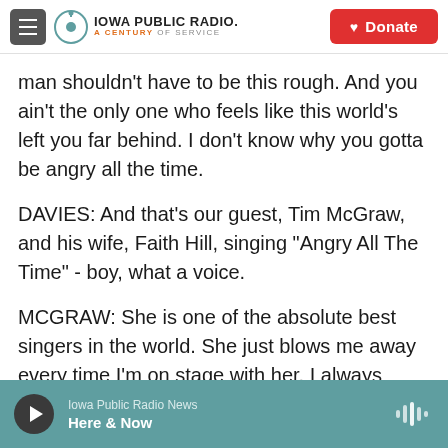Iowa Public Radio. A Century of Service | Donate
man shouldn't have to be this rough. And you ain't the only one who feels like this world's left you far behind. I don't know why you gotta be angry all the time.
DAVIES: And that's our guest, Tim McGraw, and his wife, Faith Hill, singing "Angry All The Time" - boy, what a voice.
MCGRAW: She is one of the absolute best singers in the world. She just blows me away every time I'm on stage with her. I always compare it like a NASCAR trying to keep up with an Indy car.
Iowa Public Radio News | Here & Now